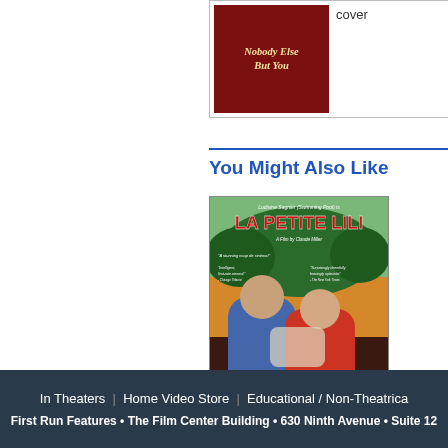[Figure (photo): Nobody Else But You DVD cover with dark red background and stylized script title text]
cover
You Might Also Like
[Figure (photo): La Petite Lili French film poster featuring two young actors (male and female) with text: Ludivine Sagnier (Swimming Pool) is LA PETITE LILI, A Film by Claude Miller, quotes from Chicago Tribune and The New York Times]
In Theaters  |  Home Video Store  |  Educational / Non-Theatrical
First Run Features • The Film Center Building • 630 Ninth Avenue • Suite 12